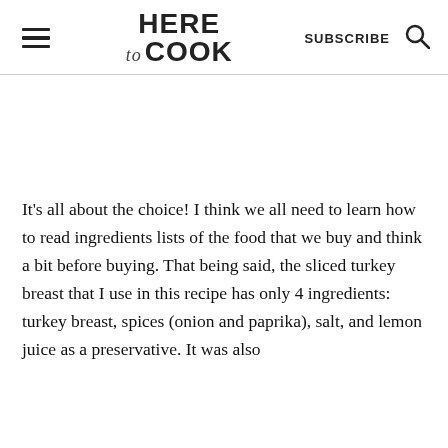HERE to COOK — SUBSCRIBE
It's all about the choice! I think we all need to learn how to read ingredients lists of the food that we buy and think a bit before buying. That being said, the sliced turkey breast that I use in this recipe has only 4 ingredients: turkey breast, spices (onion and paprika), salt, and lemon juice as a preservative. It was also